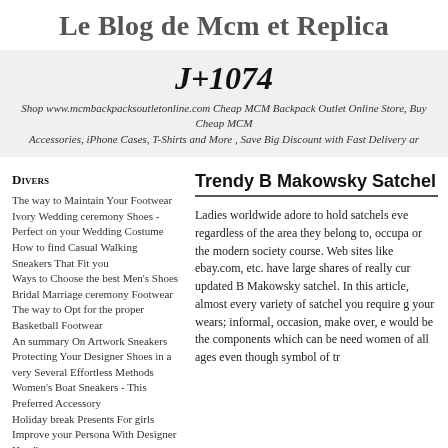Le Blog de Mcm et Replica
J+1074
Shop www.mcmbackpacksoutletonline.com Cheap MCM Backpack Outlet Online Store, Buy Cheap MCM Accessories, iPhone Cases, T-Shirts and More , Save Big Discount with Fast Delivery ar
Divers
The way to Maintain Your Footwear
Ivory Wedding ceremony Shoes - Perfect on your Wedding Costume
How to find Casual Walking Sneakers That Fit you
Ways to Choose the best Men's Shoes
Bridal Marriage ceremony Footwear
The way to Opt for the proper Basketball Footwear
An summary On Artwork Sneakers
Protecting Your Designer Shoes in a very Several Effortless Methods
Women's Boat Sneakers - This Preferred Accessory
Holiday break Presents For girls
Improve your Persona With Designer Handbags
Your Manual to Handbag Styles
Iphone Instances - Carry Your Entire world in Design
Layout Your individual iphone Scenario To specific Your Individuality
What Tends to make a superb apple
Trendy B Makowsky Satchel
Ladies worldwide adore to hold satchels eve regardless of the area they belong to, occupa or the modern society course. Web sites like ebay.com, etc. have large shares of really cu updated B Makowsky satchel. In this article, almost every variety of satchel you require g your wears; informal, occasion, make over, e would be the components which can be nee women of all ages even though symbol of tr